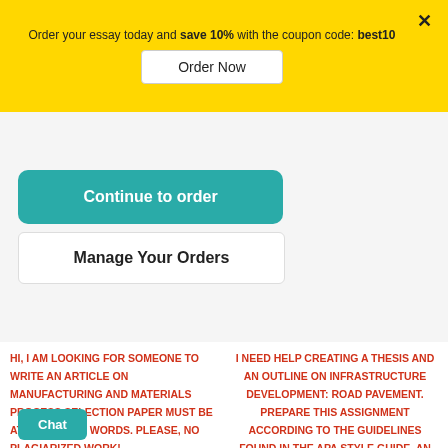Order your essay today and save 10% with the coupon code: best10
Order Now
Continue to order
Manage Your Orders
HI, I AM LOOKING FOR SOMEONE TO WRITE AN ARTICLE ON MANUFACTURING AND MATERIALS PROCESS SELECTION PAPER MUST BE AT LEAST 2500 WORDS. PLEASE, NO PLAGIARIZED WORK!
I NEED HELP CREATING A THESIS AND AN OUTLINE ON INFRASTRUCTURE DEVELOPMENT: ROAD PAVEMENT. PREPARE THIS ASSIGNMENT ACCORDING TO THE GUIDELINES FOUND IN THE APA STYLE GUIDE. AN ABSTRACT IS REQUIRED.
Chat